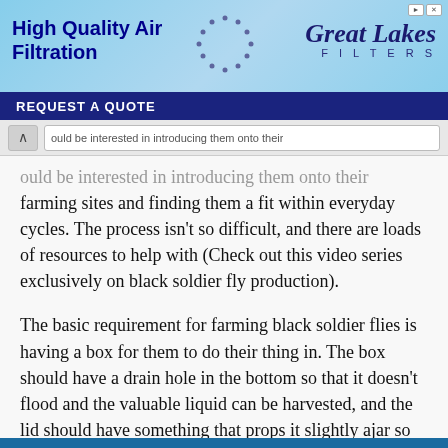[Figure (screenshot): Advertisement banner for Great Lakes Filters showing 'High Quality Air Filtration' text with blue sky background and 'REQUEST A QUOTE' call-to-action button]
ould be interested in introducing them onto their farming sites and finding them a fit within everyday cycles. The process isn't so difficult, and there are loads of resources to help with (Check out this video series exclusively on black soldier fly production).
The basic requirement for farming black soldier flies is having a box for them to do their thing in. The box should have a drain hole in the bottom so that it doesn't flood and the valuable liquid can be harvested, and the lid should have something that props it slightly ajar so that flies can come and go as they choose. Put some absorbent substrate at the bottom of the bin, such as wood shavings, shredded cardboard, or spent coffee